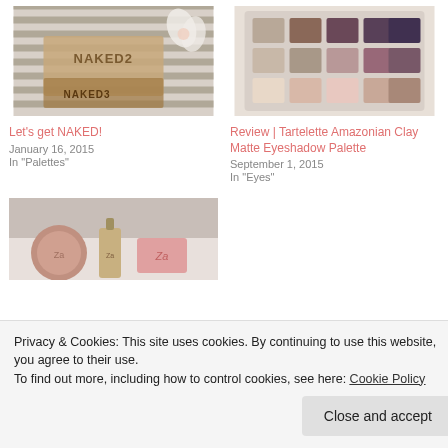[Figure (photo): Photo of Urban Decay Naked 2 and Naked 3 eyeshadow palettes on a striped background with white flowers]
Let's get NAKED!
January 16, 2015
In "Palettes"
[Figure (photo): Photo of Tartelette Amazonian Clay Matte Eyeshadow Palette with multiple pans of eyeshadow]
Review | Tartelette Amazonian Clay Matte Eyeshadow Palette
September 1, 2015
In "Eyes"
[Figure (photo): Photo of Za cosmetics products including foundation and cream on a white surface]
Privacy & Cookies: This site uses cookies. By continuing to use this website, you agree to their use.
To find out more, including how to control cookies, see here: Cookie Policy
Close and accept